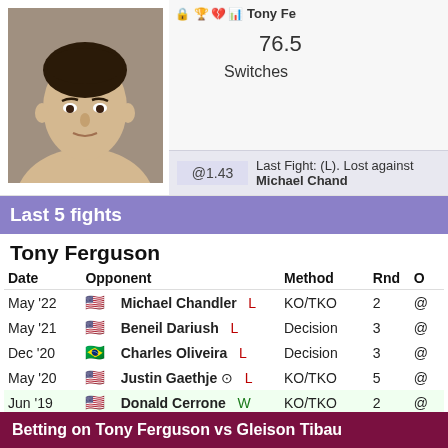[Figure (photo): Headshot photo of Tony Ferguson, a MMA fighter]
@1.43
76.5
Switches
Last Fight: (L). Lost against Michael Chandler
Last 5 fights
Tony Ferguson
| Date | Opponent |  | Method | Rnd |  |
| --- | --- | --- | --- | --- | --- |
| May '22 | Michael Chandler | L | KO/TKO | 2 | @ |
| May '21 | Beneil Dariush | L | Decision | 3 | @ |
| Dec '20 | Charles Oliveira | L | Decision | 3 | @ |
| May '20 | Justin Gaethje | L | KO/TKO | 5 | @ |
| Jun '19 | Donald Cerrone | W | KO/TKO | 2 | @ |
105 days since last fight
Betting on Tony Ferguson vs Gleison Tibau